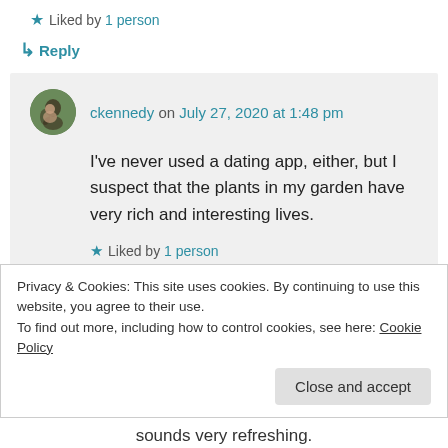★ Liked by 1 person
↳ Reply
ckennedy on July 27, 2020 at 1:48 pm
I've never used a dating app, either, but I suspect that the plants in my garden have very rich and interesting lives.
★ Liked by 1 person
Privacy & Cookies: This site uses cookies. By continuing to use this website, you agree to their use. To find out more, including how to control cookies, see here: Cookie Policy
sounds very refreshing.